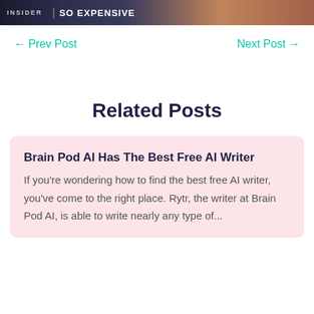[Figure (photo): Dark background image with text: INSIDER | SO EXPENSIVE]
← Prev Post      Next Post →
Related Posts
Brain Pod AI Has The Best Free AI Writer
If you're wondering how to find the best free AI writer, you've come to the right place. Rytr, the writer at Brain Pod AI, is able to write nearly any type of...